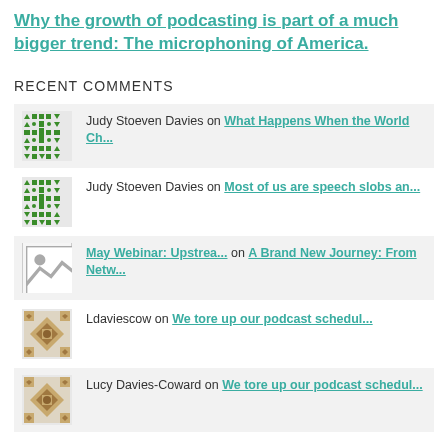Why the growth of podcasting is part of a much bigger trend: The microphoning of America.
RECENT COMMENTS
Judy Stoeven Davies on What Happens When the World Ch...
Judy Stoeven Davies on Most of us are speech slobs an...
May Webinar: Upstrea... on A Brand New Journey: From Netw...
Ldaviescow on We tore up our podcast schedul...
Lucy Davies-Coward on We tore up our podcast schedul...